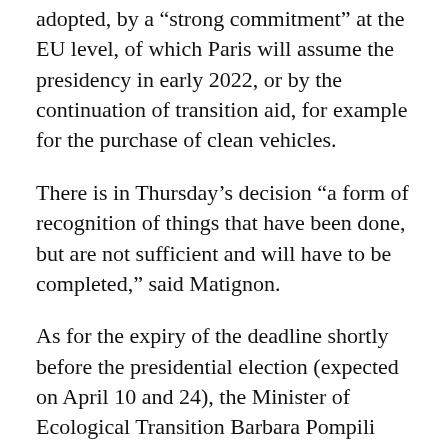adopted, by a “strong commitment” at the EU level, of which Paris will assume the presidency in early 2022, or by the continuation of transition aid, for example for the purchase of clean vehicles.
There is in Thursday’s decision “a form of recognition of things that have been done, but are not sufficient and will have to be completed,” said Matignon.
As for the expiry of the deadline shortly before the presidential election (expected on April 10 and 24), the Minister of Ecological Transition Barbara Pompili does not see it as malicious. “That it is part of the political debate, that all actors and all sectors take up this subject, it is extremely